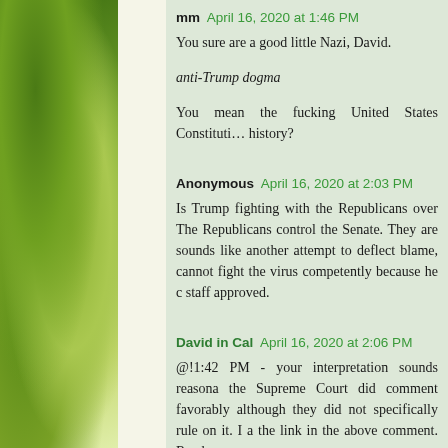mm  April 16, 2020 at 1:46 PM
You sure are a good little Nazi, David.
anti-Trump dogma
You mean the fucking United States Constitution history?
Anonymous  April 16, 2020 at 2:03 PM
Is Trump fighting with the Republicans over The Republicans control the Senate. They are sounds like another attempt to deflect blame, cannot fight the virus competently because he c staff approved.
David in Cal  April 16, 2020 at 2:06 PM
@!1:42 PM - your interpretation sounds reasona the Supreme Court did comment favorably although they did not specifically rule on it. I a the link in the above comment. Read...